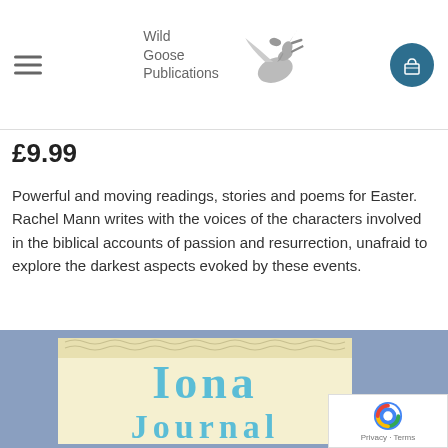Wild Goose Publications
£9.99
Powerful and moving readings, stories and poems for Easter. Rachel Mann writes with the voices of the characters involved in the biblical accounts of passion and resurrection, unafraid to explore the darkest aspects evoked by these events.
[Figure (illustration): Iona Journal book cover with Celtic border design on cream background with blue lettering, shown within a blue-grey frame]